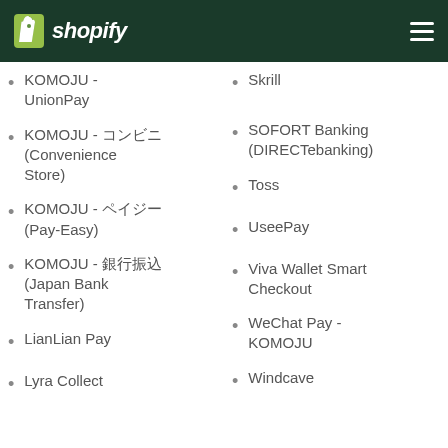Shopify
KOMOJU - UnionPay
Skrill
KOMOJU - コンビニ (Convenience Store)
SOFORT Banking (DIRECTebanking)
KOMOJU - ペイジー (Pay-Easy)
Toss
KOMOJU - 銀行振込 (Japan Bank Transfer)
UseePay
LianLian Pay
Viva Wallet Smart Checkout
Lyra Collect
WeChat Pay - KOMOJU
Windcave